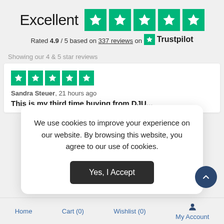[Figure (other): Trustpilot 'Excellent' rating widget showing 5 green stars and text 'Rated 4.9 / 5 based on 337 reviews on Trustpilot']
Showing our 4 & 5 star reviews
[Figure (other): 5 green star rating icons for individual review]
Sandra Steuer, 21 hours ago
This is my third time buying from DJU...
We use cookies to improve your experience on our website. By browsing this website, you agree to our use of cookies.
Yes, I Accept
Home    Cart (0)    Wishlist (0)    My Account